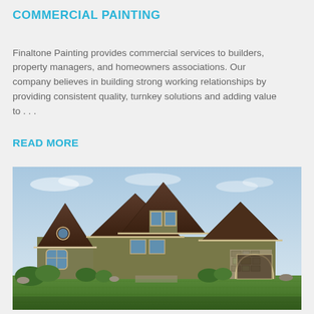COMMERCIAL PAINTING
Finaltone Painting provides commercial services to builders, property managers, and homeowners associations. Our company believes in building strong working relationships by providing consistent quality, turnkey solutions and adding value to . . .
READ MORE
[Figure (photo): Exterior photo of a large craftsman-style house with dark brown/green siding, stone accents, multiple peaked rooflines, a front porch with arched entry, and a green lawn in the foreground under a partly cloudy sky.]